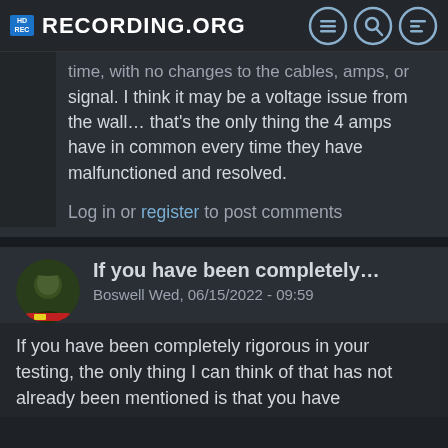Recording.org
time, with no changes to the cables, amps, or signal. I think it may be a voltage issue from the wall... that's the only thing the 4 amps have in common every time they have malfunctioned and resolved.
Log in or register to post comments
If you have been completely...
Boswell Wed, 06/15/2022 - 09:59
If you have been completely rigorous in your testing, the only thing I can think of that has not already been mentioned is that you have